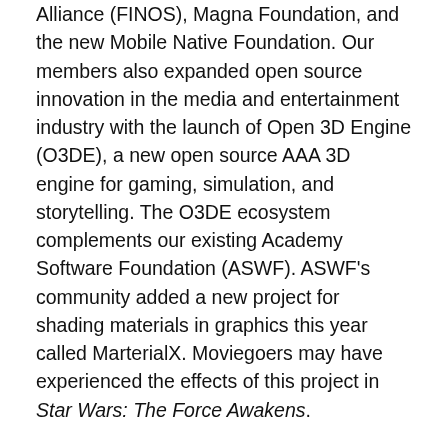Alliance (FINOS), Magna Foundation, and the new Mobile Native Foundation. Our members also expanded open source innovation in the media and entertainment industry with the launch of Open 3D Engine (O3DE), a new open source AAA 3D engine for gaming, simulation, and storytelling. The O3DE ecosystem complements our existing Academy Software Foundation (ASWF). ASWF's community added a new project for shading materials in graphics this year called MarterialX. Moviegoers may have experienced the effects of this project in Star Wars: The Force Awakens.
Our project communities' ambitions often lead to a focus on building communities. We've seen many experts continue to collaborate on community engagement in the highly active TODO Group. However, there comes a time when our communities need tools to help scale and support their growth. In 2020, the LF embarked on a journey with key community leaders to build tools that enable those leaders and others to better understand and more effectively engage